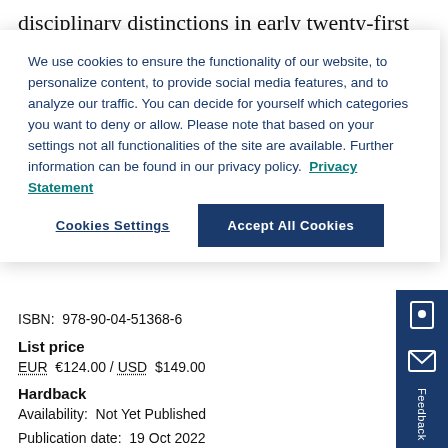disciplinary distinctions in early twenty-first century research in the arts, literature.
We use cookies to ensure the functionality of our website, to personalize content, to provide social media features, and to analyze our traffic. You can decide for yourself which categories you want to deny or allow. Please note that based on your settings not all functionalities of the site are available. Further information can be found in our privacy policy.  Privacy Statement
Cookies Settings
Accept All Cookies
ISBN:  978-90-04-51368-6
List price
EUR  €124.00 / USD  $149.00
Hardback
Availability:  Not Yet Published
Publication date:  19 Oct 2022
Copyright Date:  01 Jan 2022